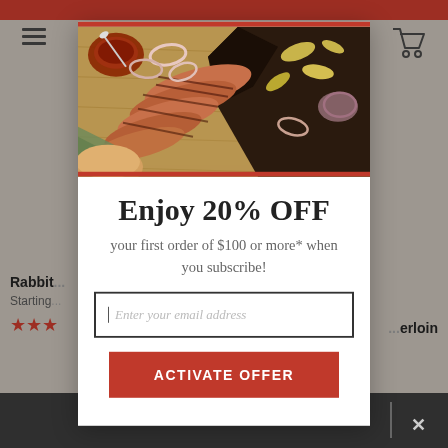[Figure (screenshot): Website popup/modal overlay showing a discount offer on a BBQ/meat website. The background shows a food e-commerce page with product listings and navigation. The modal shows a BBQ brisket food photo, a 20% OFF promotion headline, subtitle text, email input field, and an activate offer button.]
Enjoy 20% OFF
your first order of $100 or more* when you subscribe!
Enter your email address
ACTIVATE OFFER